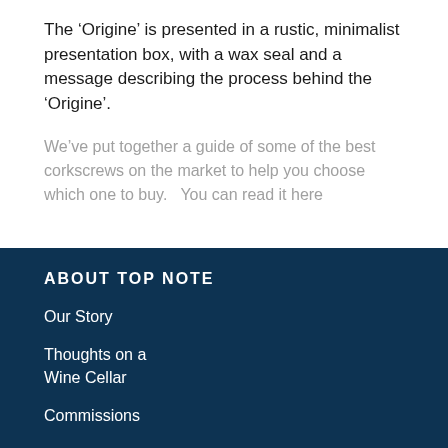The ‘Origine’ is presented in a rustic, minimalist presentation box, with a wax seal and a message describing the process behind the ‘Origine’.
We’ve put together a guide of some of the best corkscrews on the market to help you choose which one to buy.   You can read it here
ABOUT TOP NOTE
Our Story
Thoughts on a Wine Cellar
Commissions